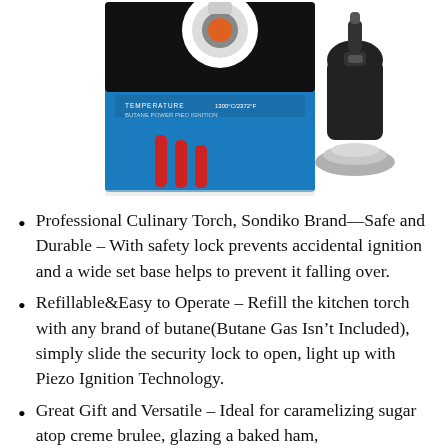[Figure (photo): Two product images: left shows a Sondiko culinary torch product box (blue and black) with red nozzle tips displayed, right shows the culinary torch device itself (black body with silver base).]
Professional Culinary Torch, Sondiko Brand—Safe and Durable – With safety lock prevents accidental ignition and a wide set base helps to prevent it falling over.
Refillable&Easy to Operate – Refill the kitchen torch with any brand of butane(Butane Gas Isn’t Included), simply slide the security lock to open, light up with Piezo Ignition Technology.
Great Gift and Versatile – Ideal for caramelizing sugar atop creme brulee, glazing a baked ham,